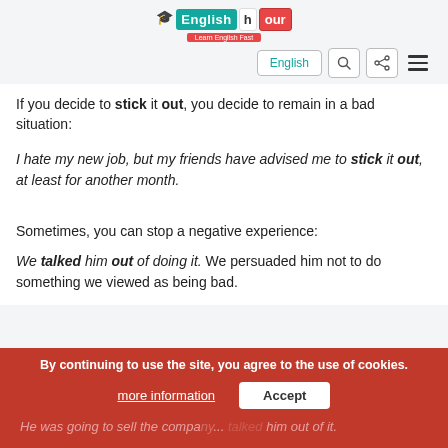EnglishHour - Learn English Fast
If you decide to stick it out, you decide to remain in a bad situation:
I hate my new job, but my friends have advised me to stick it out, at least for another month.
Sometimes, you can stop a negative experience:
We talked him out of doing it. We persuaded him not to do something we viewed as being bad.
He was going to sell the company... talked him out of it.